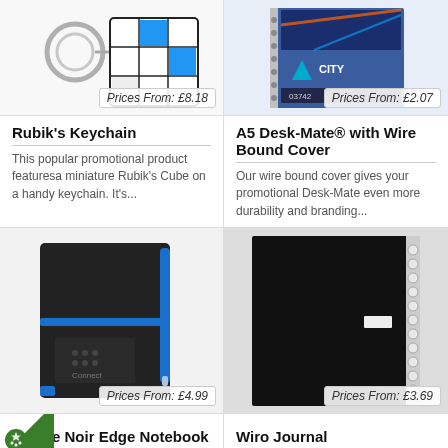[Figure (photo): Rubik's Cube keychain product photo with keyring]
Prices From: £8.18
[Figure (photo): A5 Desk-Mate wire bound cover notebook with City Construction branding]
Prices From: £2.07
Rubik's Keychain
This popular promotional product featuresa miniature Rubik's Cube on a handy keychain. It's...
A5 Desk-Mate® with Wire Bound Cover
Our wire bound cover gives your promotional Desk-Mate even more durability and branding...
[Figure (photo): Black Noir Edge Notebook with blue elastic strap and pen, Connect branding logo]
Prices From: £4.99
[Figure (photo): Black wire-bound Wiro Journal notebook]
Prices From: £3.69
e Noir Edge Notebook
Wiro Journal